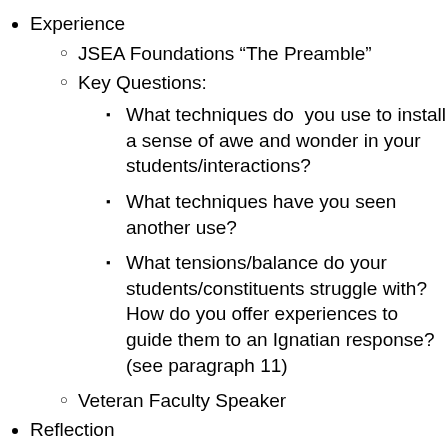Experience
JSEA Foundations “The Preamble”
Key Questions:
What techniques do you use to install a sense of awe and wonder in your students/interactions?
What techniques have you seen another use?
What tensions/balance do your students/constituents struggle with?  How do you offer experiences to guide them to an Ignatian response? (see paragraph 11)
Veteran Faculty Speaker
Reflection